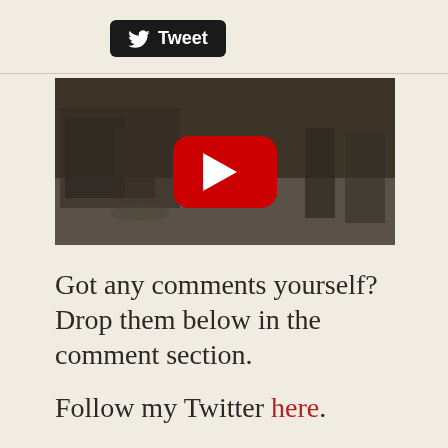[Figure (screenshot): Twitter/Tweet button with bird logo on dark background]
[Figure (screenshot): YouTube video thumbnail showing street scene with YouTube play button overlay]
Got any comments yourself? Drop them below in the comment section.
Follow my Twitter here.
And thanks for reading.